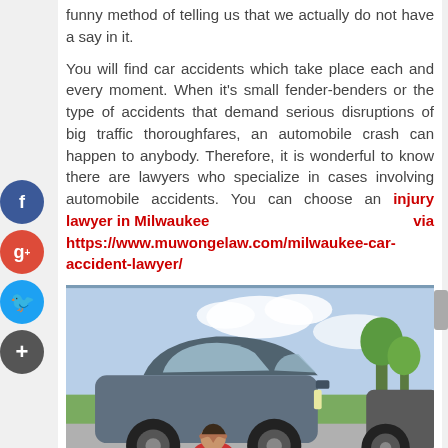funny method of telling us that we actually do not have a say in it.
You will find car accidents which take place each and every moment. When it's small fender-benders or the type of accidents that demand serious disruptions of big traffic thoroughfares, an automobile crash can happen to anybody. Therefore, it is wonderful to know there are lawyers who specialize in cases involving automobile accidents. You can choose an injury lawyer in Milwaukee via https://www.muwongelaw.com/milwaukee-car-accident-lawyer/
[Figure (photo): Photo of a car accident scene showing a blue/grey sedan with a woman in a red shirt crouching in distress in front of it, and another vehicle on the right. Sky and trees in background.]